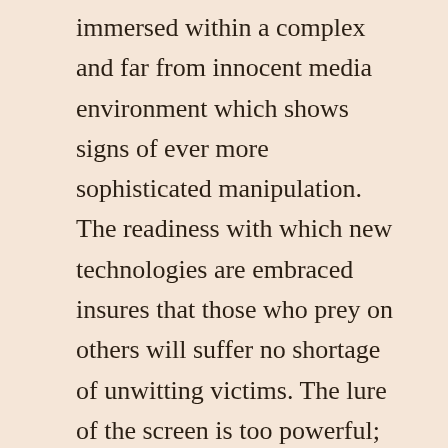immersed within a complex and far from innocent media environment which shows signs of ever more sophisticated manipulation. The readiness with which new technologies are embraced insures that those who prey on others will suffer no shortage of unwitting victims. The lure of the screen is too powerful; resistance is futile.
Media critic Marshall McLuhan foresaw all this coming; presciently, in his 1972 book “Understanding Media” he wrote of re-tribalization engendered by electronic media and subsequent fragmentation of society. We are just now witnessing the fulfillment of his prophesy as traditional standards of modernity are discarded in favor of long-standing resentments, ethnic